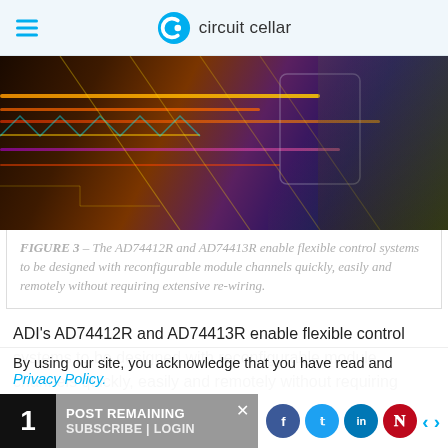circuit cellar
[Figure (photo): A person wearing a high-visibility vest and checkered shirt pointing at a glowing digital interface with circuit patterns, waveforms, and data visualizations — a tech/engineering editorial image.]
FIGURE 3 – The AD74412R and AD74413R enable flexible control systems to be designed with reconfigurable module channels quickly, easily and remotely without requiring extensive re-wiring.
ADI's AD74412R and AD74413R enable flexible control systems to be designed with reconfigurable module channels quickly, easily and remotely without requiring
By using our site, you acknowledge that you have read and Privacy Policy.
1 POST REMAINING SUBSCRIBE | LOGIN